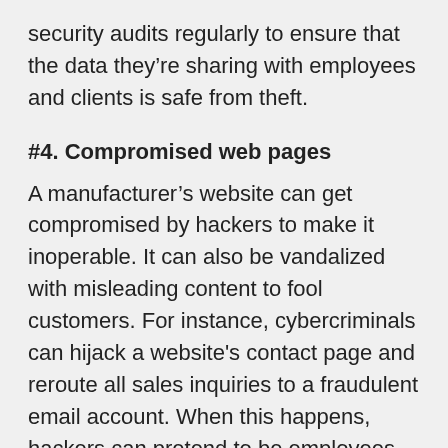security audits regularly to ensure that the data they're sharing with employees and clients is safe from theft.
#4. Compromised web pages
A manufacturer's website can get compromised by hackers to make it inoperable. It can also be vandalized with misleading content to fool customers. For instance, cybercriminals can hijack a website's contact page and reroute all sales inquiries to a fraudulent email account. When this happens, hackers can pretend to be employees from the company and send bogus business proposals.